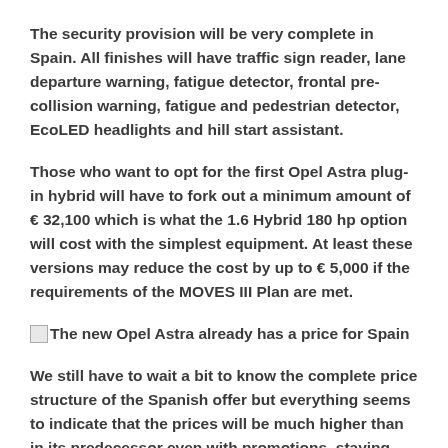The security provision will be very complete in Spain. All finishes will have traffic sign reader, lane departure warning, fatigue detector, frontal pre-collision warning, fatigue and pedestrian detector, EcoLED headlights and hill start assistant.
Those who want to opt for the first Opel Astra plug-in hybrid will have to fork out a minimum amount of € 32,100 which is what the 1.6 Hybrid 180 hp option will cost with the simplest equipment. At least these versions may reduce the cost by up to € 5,000 if the requirements of the MOVES III Plan are met.
[Figure (photo): Broken image placeholder followed by caption text: The new Opel Astra already has a price for Spain]
We still have to wait a bit to know the complete price structure of the Spanish offer but everything seems to indicate that the prices will be much higher than in its predecessor even with promotions, staying close to what the Peugeot 3008 costs.